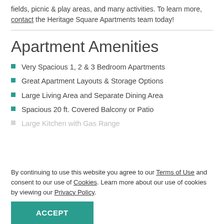fields, picnic & play areas, and many activities. To learn more, contact the Heritage Square Apartments team today!
Apartment Amenities
Very Spacious 1, 2 & 3 Bedroom Apartments
Great Apartment Layouts & Storage Options
Large Living Area and Separate Dining Area
Spacious 20 ft. Covered Balcony or Patio
Large Kitchen with Gas Range
By continuing to use this website you agree to our Terms of Use and consent to our use of Cookies. Learn more about our use of cookies by viewing our Privacy Policy.
ACCEPT